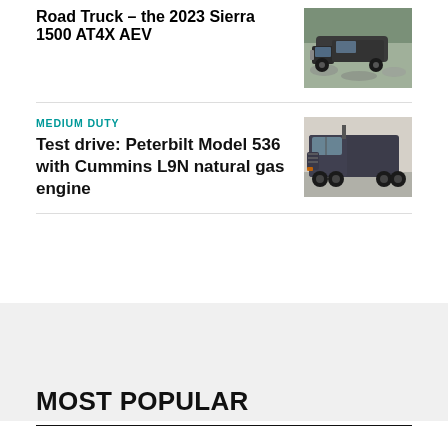Road Truck – the 2023 Sierra 1500 AT4X AEV
[Figure (photo): Photo of a dark-colored GMC Sierra 1500 AT4X AEV truck on rocky terrain]
MEDIUM DUTY
Test drive: Peterbilt Model 536 with Cummins L9N natural gas engine
[Figure (photo): Photo of a dark gray Peterbilt Model 536 semi-truck indoors]
MOST POPULAR